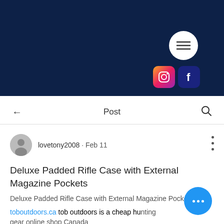[Figure (screenshot): Dark navy blue header banner with hamburger menu button (white circle) and Instagram and Facebook social icons]
Post
lovetony2008 · Feb 11
Deluxe Padded Rifle Case with External Magazine Pockets
Deluxe Padded Rifle Case with External Magazine Pockets
toboutdoors.ca tob outdoors is a cheap hunting gear online shop Canada